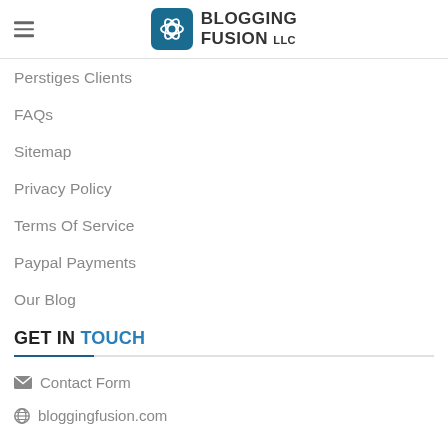BLOGGING FUSION LLC
Perstiges Clients
FAQs
Sitemap
Privacy Policy
Terms Of Service
Paypal Payments
Our Blog
GET IN TOUCH
Contact Form
bloggingfusion.com